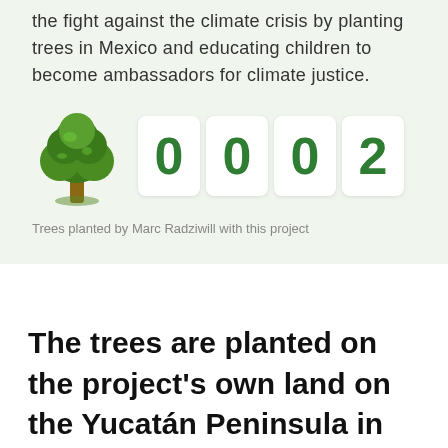the fight against the climate crisis by planting trees in Mexico and educating children to become ambassadors for climate justice.
[Figure (illustration): Green tree illustration with counter showing 0002]
Trees planted by Marc Radziwill with this project
The trees are planted on the project's own land on the Yucatán Peninsula in Mexico.